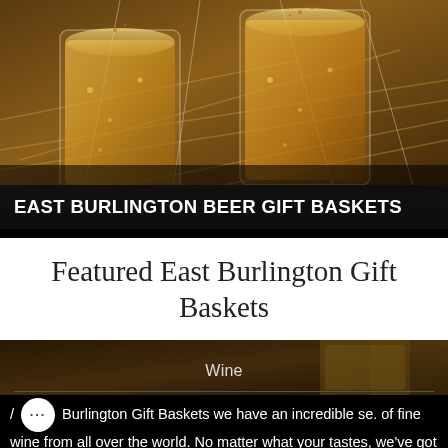[Figure (photo): Close-up photo of two glasses of amber beer or ale with wheat stalks, wrapped in cellophane, warm golden tones]
EAST BURLINGTON BEER GIFT BASKETS
Featured East Burlington Gift Baskets
[Figure (photo): Close-up photo of beer glasses, dark and gold tones, partial view]
Wine
/ Burlington Gift Baskets we have an incredible se. of fine wine from all over the world. No matter what your tastes, we've got the vintages sure to satisfy.